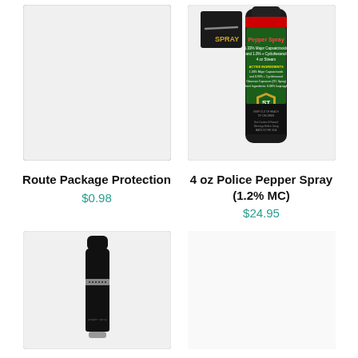[Figure (photo): Route Package Protection product image placeholder - light gray box]
[Figure (photo): 4 oz Police Pepper Spray can with green and red label, black cap, ST shield logo, and a spray label icon in the top left]
Route Package Protection
$0.98
4 oz Police Pepper Spray (1.2% MC)
$24.95
[Figure (photo): Small black lipstick-style pepper spray container with silver ring detail]
[Figure (photo): Empty product cell placeholder]